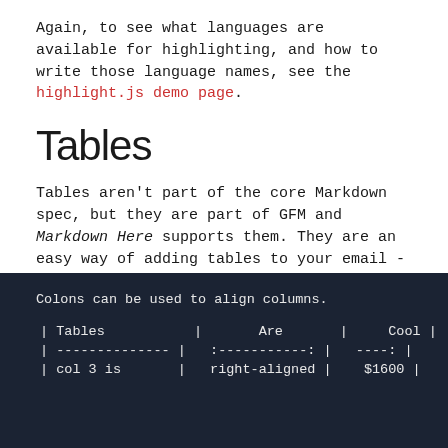Again, to see what languages are available for highlighting, and how to write those language names, see the highlight.js demo page.
Tables
Tables aren't part of the core Markdown spec, but they are part of GFM and Markdown Here supports them. They are an easy way of adding tables to your email -- a task that would otherwise require copy-pasting from another application.
Colons can be used to align columns.
| Tables | Are | Cool |
| --- | --- | --- |
| ------------- | :-----------: | ----: |
| col 3 is | right-aligned | $1600 |